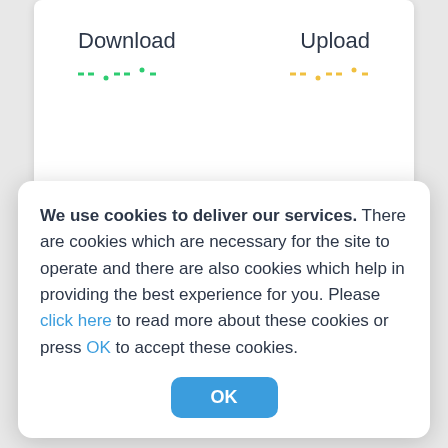[Figure (screenshot): Speed test UI showing Download and Upload labels with dashed loading indicators and a circular gauge area with CLICK TO BEGIN text]
We use cookies to deliver our services. There are cookies which are necessary for the site to operate and there are also cookies which help in providing the best experience for you. Please click here to read more about these cookies or press OK to accept these cookies.